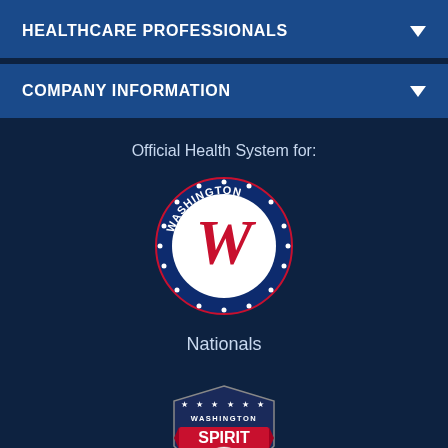HEALTHCARE PROFESSIONALS
COMPANY INFORMATION
Official Health System for:
[Figure (logo): Washington Nationals baseball team circular logo with navy blue border, red script W in center on white background, 'WASHINGTON' text arching across top and 'NATIONALS' across bottom in white on navy]
Nationals
[Figure (logo): Washington Spirit women's soccer team shield logo with stars across top, 'WASHINGTON' text, 'SPIRIT' in red banner, and soccer ball design at bottom with red and white stripes]